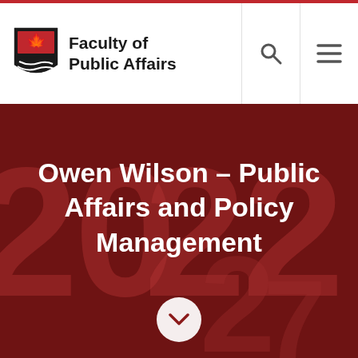Faculty of Public Affairs
Owen Wilson – Public Affairs and Policy Management
[Figure (screenshot): University website hero banner with dark red background showing large watermark numbers (2022/2023), white bold text reading 'Owen Wilson – Public Affairs and Policy Management', and a white circular chevron-down button at the bottom center.]